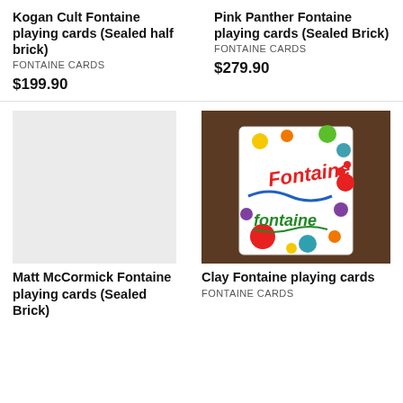Kogan Cult Fontaine playing cards (Sealed half brick)
FONTAINE CARDS
$199.90
Pink Panther Fontaine playing cards (Sealed Brick)
FONTAINE CARDS
$279.90
[Figure (photo): Light gray placeholder rectangle for Matt McCormick Fontaine playing cards product]
[Figure (photo): Photo of Clay Fontaine playing cards box with colorful circles and Fontaine logo on dark wood background]
Matt McCormick Fontaine playing cards (Sealed Brick)
Clay Fontaine playing cards
FONTAINE CARDS